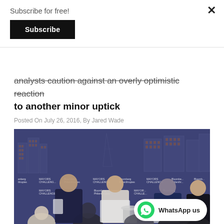Subscribe for free!
Subscribe
analysts caution against an overly optimistic reaction to another minor uptick
Posted On July 26, 2016, By Jared Wade
[Figure (photo): Panel discussion at Bloomberg Philanthropies Mayors Challenge event, with speakers seated in white chairs on a stage with a branded backdrop showing city skylines.]
WhatsApp us